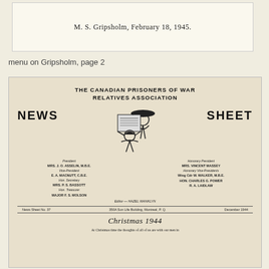[Figure (photo): Scanned document card with text 'M. S. Gripsholm, February 18, 1945.']
menu on Gripsholm, page 2
[Figure (photo): Cover page of The Canadian Prisoners of War Relatives Association News Sheet, featuring illustration of two figures reading a newspaper. Lists officers including President MRS. J. O. ASSELIN, M.B.E., Vice-President E. A. MACNUTT, C.B.E., Hon. Secretary MRS. P. S. BASSOTT, Hon. Treasurer MAJOR F. S. MOLSON on the left, and Honorary President MRS. VINCENT MASSEY, Honorary Vice-Presidents Wing Cdr W. WALKER, M.B.E., HON. CHARLES G. POWER, R. A. LAIDLAW on the right. Editor — HAZEL WANKLYN. News Sheet No. 37, 350A Sun Life Building, Montreal, P. Q., December 1944.]
Christmas 1944
At Christmas time the thoughts of all of us are with our men in